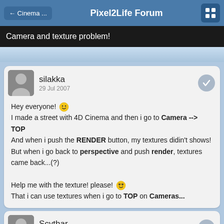← Cinema ...   Pixel2Life Forum
Camera and texture problem!
silakka
29 Jul 2007
Hey everyone! 😊
I made a street with 4D Cinema and then i go to Camera --> TOP
And when i push the RENDER button, my textures didin't shows!
But when i go back to perspective and push render, textures came back...(?)

Help me with the texture! please! 😊
That i can use textures when i go to TOP on Cameras...
Scythar
29 Jul 2007
Maybe, first check if you have same settings: